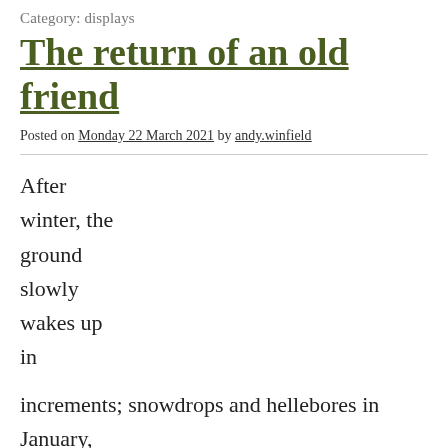Category: displays
The return of an old friend
Posted on Monday 22 March 2021 by andy.winfield
After winter, the ground slowly wakes up in
increments; snowdrops and hellebores in January,